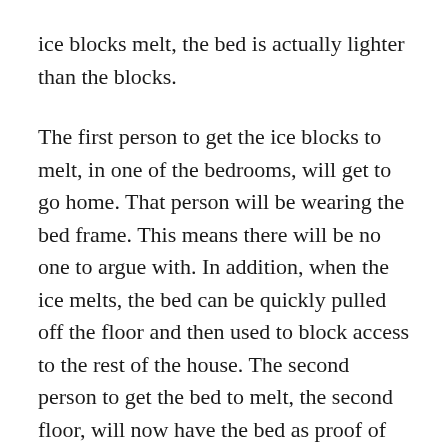ice blocks melt, the bed is actually lighter than the blocks.
The first person to get the ice blocks to melt, in one of the bedrooms, will get to go home. That person will be wearing the bed frame. This means there will be no one to argue with. In addition, when the ice melts, the bed can be quickly pulled off the floor and then used to block access to the rest of the house. The second person to get the bed to melt, the second floor, will now have the bed as proof of their claim.
This is a bit of a trick, but the bed can be melted at the end of the road which is not the beginning or the